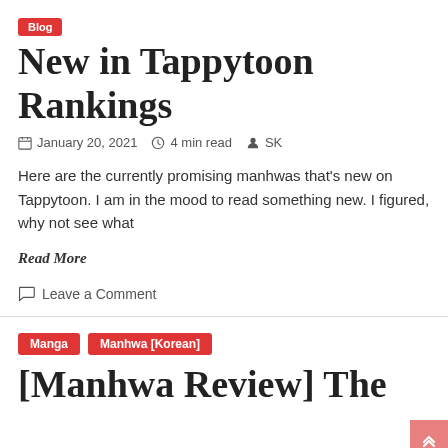Blog
New in Tappytoon Rankings
January 20, 2021  4 min read  SK
Here are the currently promising manhwas that's new on Tappytoon. I am in the mood to read something new. I figured, why not see what
Read More
Leave a Comment
Manga  Manhwa [Korean]
[Manhwa Review] The